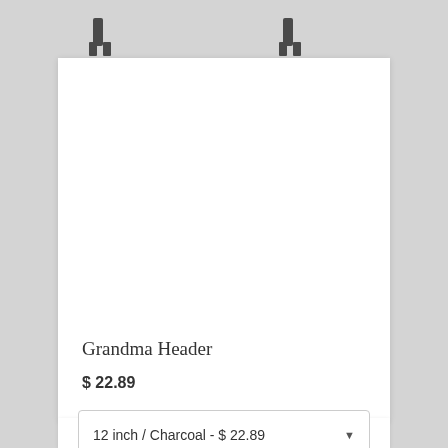[Figure (illustration): E-commerce product card with hanging bracket hardware at top, white card background, product title, price, variant selector dropdown, and add to cart button]
Grandma Header
$ 22.89
12 inch / Charcoal - $ 22.89
Add to Cart